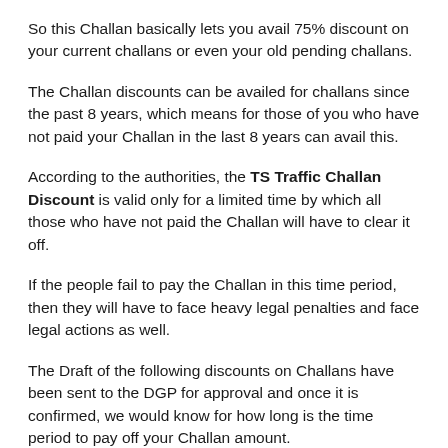So this Challan basically lets you avail 75% discount on your current challans or even your old pending challans.
The Challan discounts can be availed for challans since the past 8 years, which means for those of you who have not paid your Challan in the last 8 years can avail this.
According to the authorities, the TS Traffic Challan Discount is valid only for a limited time by which all those who have not paid the Challan will have to clear it off.
If the people fail to pay the Challan in this time period, then they will have to face heavy legal penalties and face legal actions as well.
The Draft of the following discounts on Challans have been sent to the DGP for approval and once it is confirmed, we would know for how long is the time period to pay off your Challan amount.
This TS Traffic Challan Discount effort by the TS Traffic Police